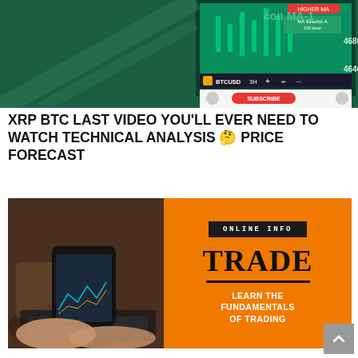[Figure (screenshot): Screenshot of a cryptocurrency trading chart app showing BTCUSD 3H chart with candlestick data, price levels 46400.00 and 46800.00 visible, on a green background. Shows Webull app interface with subscribe button.]
XRP BTC LAST VIDEO YOU'LL EVER NEED TO WATCH TECHNICAL ANALYSIS 🤔 PRICE FORECAST
[Figure (infographic): Advertisement banner split into two halves. Left half shows a photo of hands holding a smartphone displaying trading charts, with a laptop keyboard in the background in a coffee shop setting. Right half is orange with: 'ONLINE INFO' in a black badge, 'TRADE' in large black serif text, a horizontal divider, and 'LEARN THE FUNDAMENTALS OF TRADING' in white bold text.]